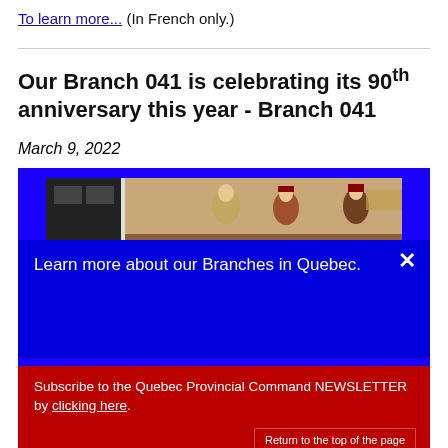To learn more... (In French only.)
Our Branch 041 is celebrating its 90th anniversary this year - Branch 041
March 9, 2022
[Figure (screenshot): A blue popup overlay on a webpage showing a photo of decorative figurines in a room, with a blue modal box reading 'Learn more about our Branches in Quebec.' and a red bar below reading 'Subscribe to the Quebec Provincial Command NEWSLETTER by clicking here.' with a 'Return to the top of the page' button, and a bottom photo showing a person wearing a crown emblem.]
Learn more about our Branches in Quebec.
Subscribe to the Quebec Provincial Command NEWSLETTER by clicking here.
Return to the top of the page